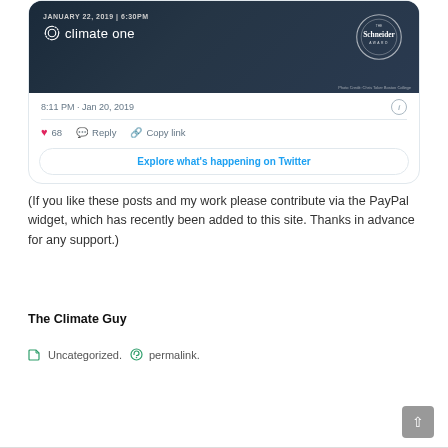[Figure (screenshot): Twitter/social media card embed showing a Climate One event for January 22, 2019 at 6:30pm with Schneider Award branding. Shows timestamp 8:11 PM · Jan 20, 2019, 68 likes, Reply and Copy link actions, and an 'Explore what's happening on Twitter' button.]
(If you like these posts and my work please contribute via the PayPal widget, which has recently been added to this site. Thanks in advance for any support.)
The Climate Guy
Uncategorized. permalink.